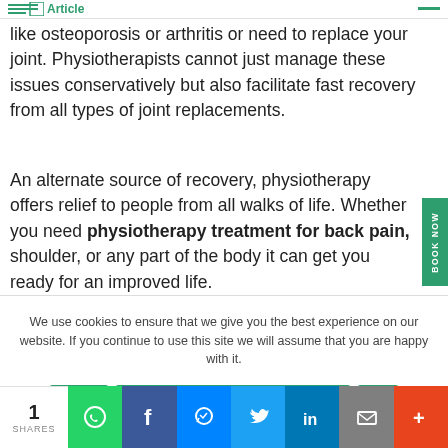Article
like osteoporosis or arthritis or need to replace your joint. Physiotherapists cannot just manage these issues conservatively but also facilitate fast recovery from all types of joint replacements.
An alternate source of recovery, physiotherapy offers relief to people from all walks of life. Whether you need physiotherapy treatment for back pain, shoulder, or any part of the body it can get you ready for an improved life.
We use cookies to ensure that we give you the best experience on our website. If you continue to use this site we will assume that you are happy with it.
1 SHARES | WhatsApp | Facebook | Messenger | Twitter | LinkedIn | Email | More